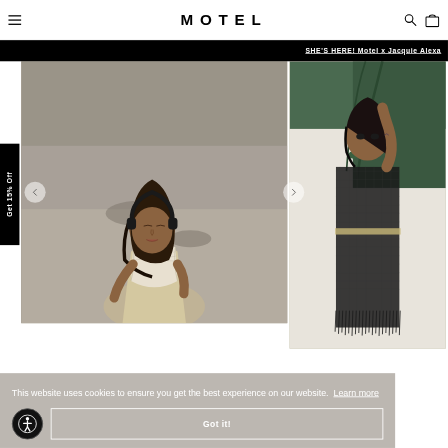MOTEL
SHE'S HERE! Motel x Jacquie Alexa
[Figure (photo): Fashion model sitting on a pavement/street, eyes closed, wearing headphones and a white patterned short-sleeve top, long dark hair, natural light outdoor setting]
[Figure (photo): Fashion model against white wall with green foliage, wearing a black crochet/mesh cover-up with fringe hem, arm raised above head, outdoor setting]
Get 15% Off
This website uses cookies to ensure you get the best experience on our website.  Learn more
Got it!